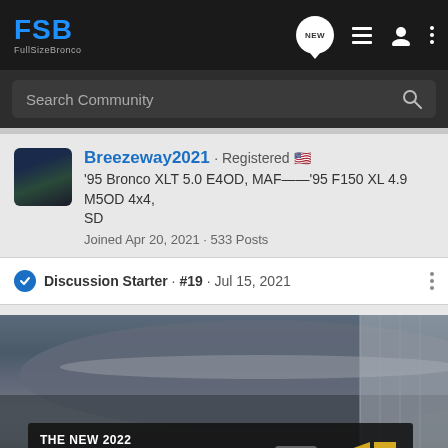FSB FullSizeBronco — navigation bar with NEW, list, user, and menu icons
Search Community
Breezeway2021 · Registered 🇺🇸
'95 Bronco XLT 5.0 E4OD, MAF——'95 F150 XL 4.9 M5OD 4x4, SD
Joined Apr 20, 2021 · 533 Posts
Discussion Starter · #19 · Jul 15, 2021
[Figure (photo): Close-up photo of the top/roof edge of a dark-colored vehicle (Bronco or F150), with a Chevrolet Silverado 2022 advertisement overlay at the bottom reading 'THE NEW 2022 SILVERADO.' with an Explore button and Chevrolet logo.]